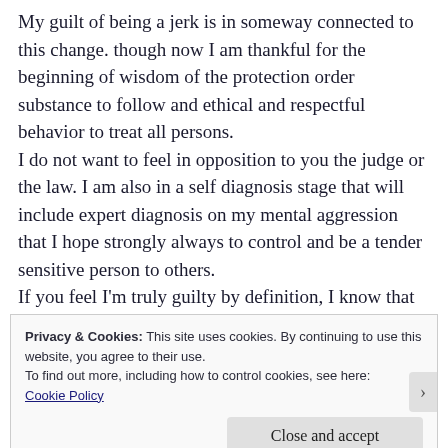My guilt of being a jerk is in someway connected to this change. though now I am thankful for the beginning of wisdom of the protection order substance to follow and ethical and respectful behavior to treat all persons. I do not want to feel in opposition to you the judge or the law. I am also in a self diagnosis stage that will include expert diagnosis on my mental aggression that I hope strongly always to control and be a tender sensitive person to others. If you feel I'm truly guilty by definition, I know that you do not seek injustice and would ask you talk to my PD
Privacy & Cookies: This site uses cookies. By continuing to use this website, you agree to their use.
To find out more, including how to control cookies, see here:
Cookie Policy
Close and accept